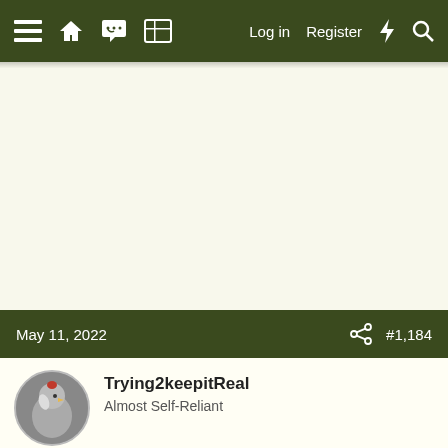≡  🏠  💬  📋   Log in   Register  ⚡  🔍
May 11, 2022   #1,184
Trying2keepitReal
Almost Self-Reliant
Congrats Abby! So amazing, you have provided for and supported